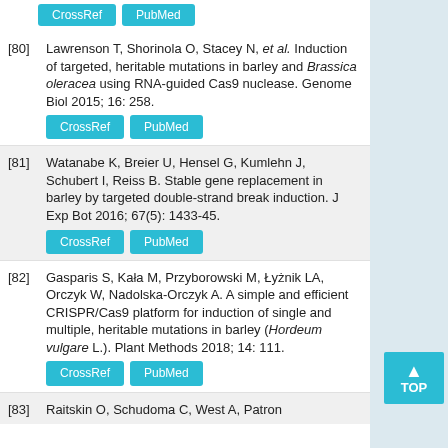[CrossRef] [PubMed] (buttons from previous entry)
[80] Lawrenson T, Shorinola O, Stacey N, et al. Induction of targeted, heritable mutations in barley and Brassica oleracea using RNA-guided Cas9 nuclease. Genome Biol 2015; 16: 258. [CrossRef] [PubMed]
[81] Watanabe K, Breier U, Hensel G, Kumlehn J, Schubert I, Reiss B. Stable gene replacement in barley by targeted double-strand break induction. J Exp Bot 2016; 67(5): 1433-45. [CrossRef] [PubMed]
[82] Gasparis S, Kała M, Przyborowski M, Łyżnik LA, Orczyk W, Nadolska-Orczyk A. A simple and efficient CRISPR/Cas9 platform for induction of single and multiple, heritable mutations in barley (Hordeum vulgare L.). Plant Methods 2018; 14: 111. [CrossRef] [PubMed]
[83] Raitskin O, Schudoma C, West A, Patron (partial)